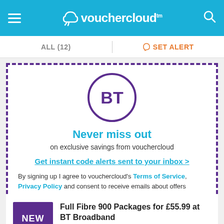vouchercloud
ALL (12)   SET ALERT
[Figure (logo): BT logo — purple circle with BT text inside]
Never miss out
on exclusive savings from vouchercloud
Get instant code alerts sent to your inbox  >
By signing up I agree to vouchercloud's Terms of Service, Privacy Policy and consent to receive emails about offers
Full Fibre 900 Packages for £55.99 at BT Broadband
Online